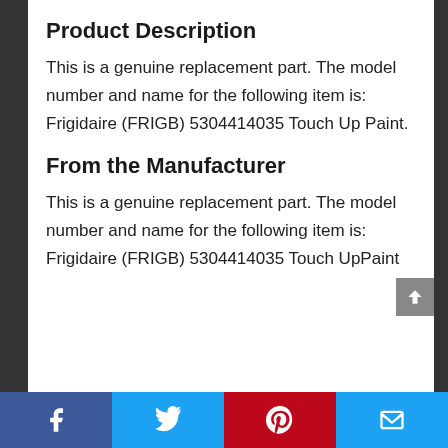Product Description
This is a genuine replacement part. The model number and name for the following item is: Frigidaire (FRIGB) 5304414035 Touch Up Paint.
From the Manufacturer
This is a genuine replacement part. The model number and name for the following item is: Frigidaire (FRIGB) 5304414035 Touch UpPaint
Facebook | Twitter | Pinterest | Email